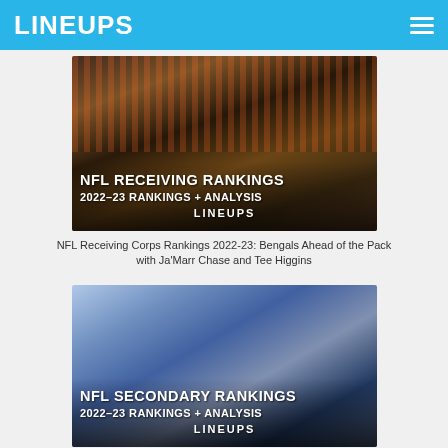LINEUPS
[Figure (photo): NFL player in Bengals uniform catching a football, with crowd in background. Overlay text: NFL RECEIVING RANKINGS / 2022-23 RANKINGS + ANALYSIS / LINEUPS]
NFL Receiving Corps Rankings 2022-23: Bengals Ahead of the Pack with Ja'Marr Chase and Tee Higgins
[Figure (photo): NFL player in Bills white uniform and blue helmet running on field. Overlay text: NFL SECONDARY RANKINGS / 2022-23 RANKINGS + ANALYSIS / LINEUPS]